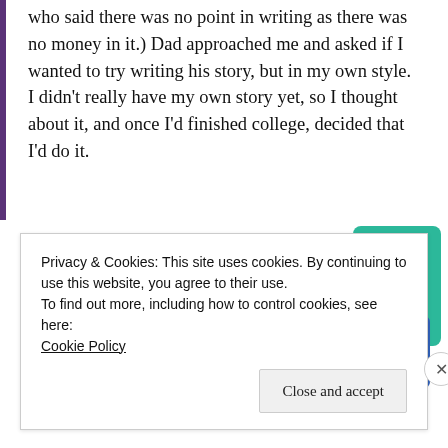who said there was no point in writing as there was no money in it.) Dad approached me and asked if I wanted to try writing his story, but in my own style. I didn't really have my own story yet, so I thought about it, and once I'd finished college, decided that I'd do it.
[Figure (other): Advertisement banner for 99% Invisible podcast app showing the text 'lovers.' in bold black, 'Download now' in red, and a graphic of podcast app cards including a black card with yellow square grid labeled '99% INVISIBLE', a teal card, and a blue card.]
Privacy & Cookies: This site uses cookies. By continuing to use this website, you agree to their use.
To find out more, including how to control cookies, see here:
Cookie Policy